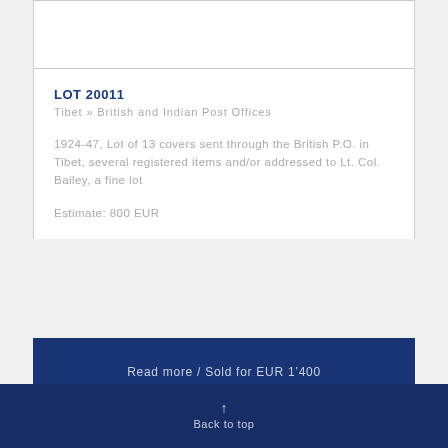LOT 20011
Tibet » British and Indian Post Offices
1924-47, Lot of 13 covers sent through the British P.O. in Tibet, several registered items and/or addressed to Lt. Col. Bailey, a fine lot
Estimate: 800 EUR
Read more / Sold for EUR 1’400
Back to top